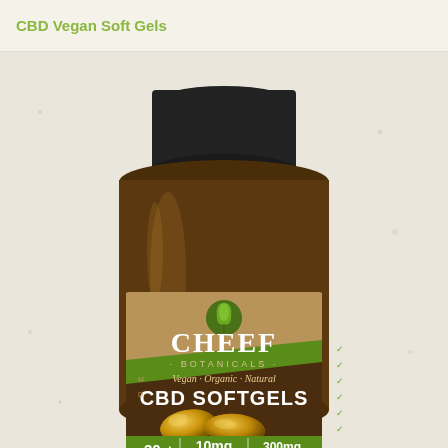CBD Vegan Soft Gels
[Figure (photo): Amber glass bottle of Cheef Botanicals CBD Softgels, 30ct, 10mg per softgel, 300mg total CBD. Label shows Vegan · Organic · Natural with two golden softgel capsules visible at the bottom of the label. Brown label with green accents and wheat/leaf logo. Black ribbed cap on top.]